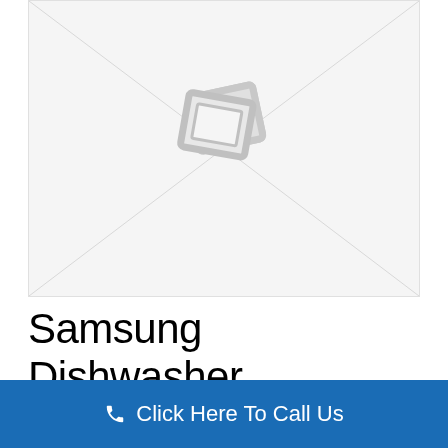[Figure (illustration): Placeholder image with envelope/image icon on light grey background]
Samsung Dishwasher Installation Etobicoke
Click Here To Call Us